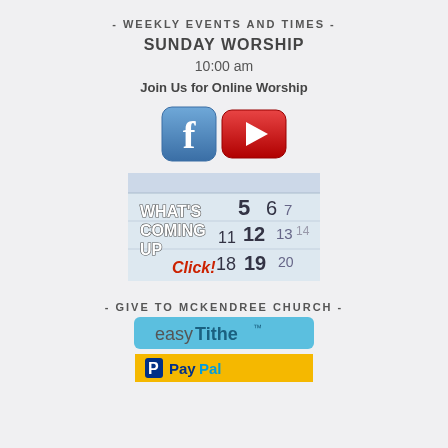- WEEKLY EVENTS AND TIMES -
SUNDAY WORSHIP
10:00 am
Join Us for Online Worship
[Figure (illustration): Facebook and YouTube social media icons side by side]
[Figure (photo): Calendar image with text 'WHAT'S COMING UP' and 'Click!' in red]
- GIVE TO MCKENDREE CHURCH -
[Figure (logo): easyTithe logo on blue background]
[Figure (logo): PayPal logo on yellow background]